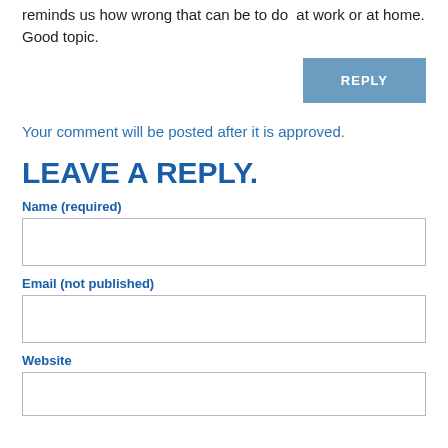reminds us how wrong that can be to do  at work or at home. Good topic.
REPLY
Your comment will be posted after it is approved.
LEAVE A REPLY.
Name (required)
Email (not published)
Website